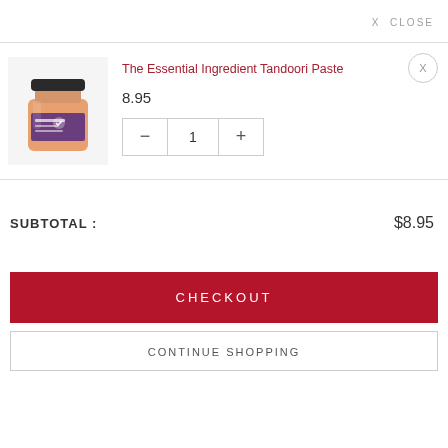X CLOSE
[Figure (photo): Jar of The Essential Ingredient Tandoori Paste with orange/red contents and purple label]
The Essential Ingredient Tandoori Paste
8.95
X
SUBTOTAL :
$8.95
CHECKOUT
CONTINUE SHOPPING